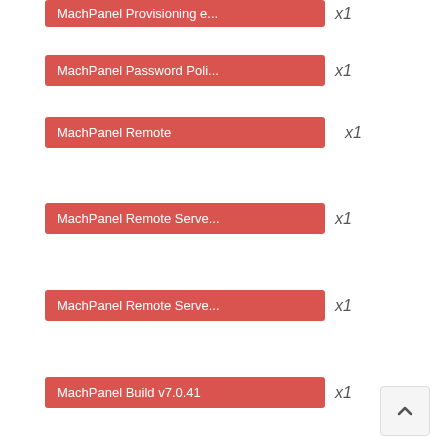MachPanel Provisioning x1
MachPanel Password Poli x1
MachPanel Remote x1
MachPanel Remote Serve x1
MachPanel Remote Serve x1
MachPanel Build v7.0.41 x1
MachPanel build v6.0.32 x1
MachPanel build v5.2.26 x1
MachPanel build v6.0.36 x1
MachPanel build v6.0.38 x1
MachPanel build v6.0.37 x1
MachPanel build v5.2.11 x1
MachPanel Build v4.0.40 x1